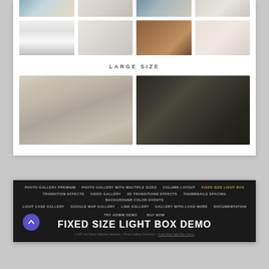[Figure (photo): Grid of four small workspace/desk photo thumbnails (top row, partial)]
[Figure (photo): Grid of four small workspace thumbnails: iMac on white desk, iMac with phone, wooden desk with camera accessories, tablet with coffee]
LARGE SIZE
[Figure (photo): Large photo of a MacBook laptop on a wooden desk with decorative objects and plant]
[Figure (photo): Large photo of a dark office setup with laptop and large monitor]
PHOTO GALLERY PREMIUM  PHOTO GALLERY WITH MULTIPLE SIZES  COLUMN LAYOUT  FIXED SIZE LIGHT BOX  TRANSITION EFFECTS  VIDEO GALLERY  2D TRANSITIONS EFFECTS  THUMBNAILS SPACING  BACKGROUND COLOR EVENTS  LIGHT CASE GALLERY  GOOGLE MAP GALLERY  LINK GALLERY  GALLERY WITH LOAD MORE  DOCUMENTATION  TRY ADMIN DEMO  BUY NOW  FIXED SIZE LIGHT BOX DEMO  A WP Life Demo Website Network > Photo Gallery Premium > Fixed Size Light Box Demo